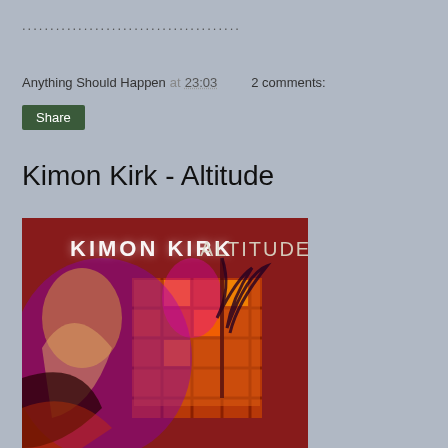....................................
Anything Should Happen at 23:03   2 comments:
Share
Kimon Kirk - Altitude
[Figure (photo): Album cover for Kimon Kirk - Altitude. Dark red/purple background with abstract art of a figure and tropical/palm motifs. White neon-style text reads KIMON KIRK ALTITUDE at the top.]